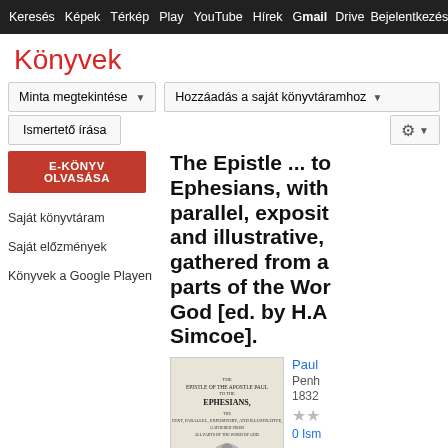Keresés  Képek  Térkép  Play  YouTube  Hírek  Gmail  Drive  Egyéb  Bejelentkezés
Könyvek
Minta megtekintése
Hozzáadás a saját könyvtáramhoz
Ismertető írása
E-KÖNYV OLVASÁSA
Saját könyvtáram
Saját előzmények
Könyvek a Google Playen
The Epistle ... to Ephesians, with parallel, exposit and illustrative, gathered from a parts of the Wor God [ed. by H.A Simcoe].
[Figure (photo): Thumbnail of book cover: The Epistle of the Apostle Paul to the Ephesians, text parallel, expository and illustrative, 1832]
Paul
Penh
1832
★★
0 Ism